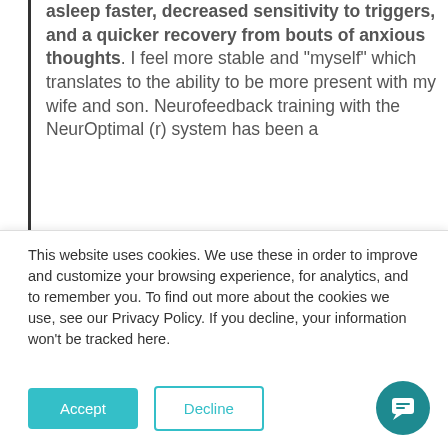of positive benefits including falling asleep faster, decreased sensitivity to triggers, and a quicker recovery from bouts of anxious thoughts. I feel more stable and "myself" which translates to the ability to be more present with my wife and son. Neurofeedback training with the NeurOptimal (r) system has been a [continued...]
This website uses cookies. We use these in order to improve and customize your browsing experience, for analytics, and to remember you. To find out more about the cookies we use, see our Privacy Policy. If you decline, your information won't be tracked here.